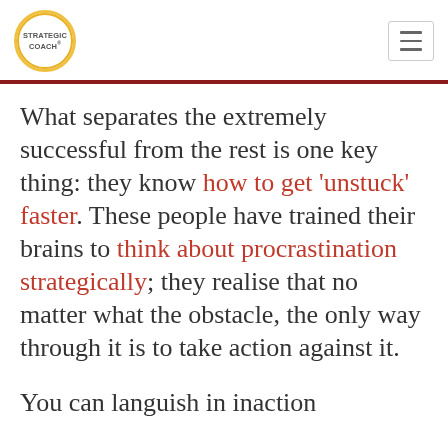STRATEGIC COACH®
What separates the extremely successful from the rest is one key thing: they know how to get 'unstuck' faster. These people have trained their brains to think about procrastination strategically; they realise that no matter what the obstacle, the only way through it is to take action against it.

You can languish in inaction